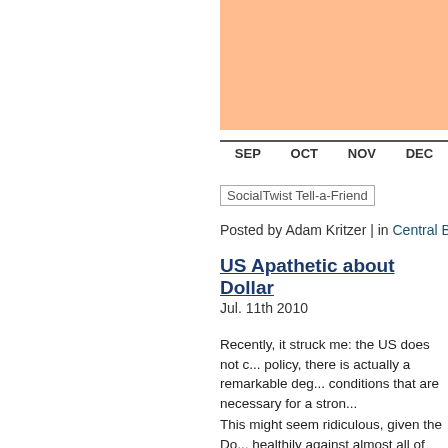[Figure (bar-chart): Partial bar chart visible showing orange/peach colored bars with x-axis labels SEP, OCT, NOV, DEC]
[Figure (other): SocialTwist Tell-a-Friend button image]
Posted by Adam Kritzer | in Central Bank
US Apathetic about Dollar
Jul. 11th 2010
Recently, it struck me: the US does not c... policy, there is actually a remarkable deg... conditions that are necessary for a stron...
This might seem ridiculous, given the Do... healthily against almost all of the world's... weighted basis. Bear in mind, however, t... Europe. It speaks not to any strength in t... fact, as I wrote earlier this week ("US Do... to the fundamentals, the Dollar has suffe...
Without drilling into the nuts and bolts of... exceed an unthinkable $1 Trillion for a se... much faster than GDP, and servicing it is...